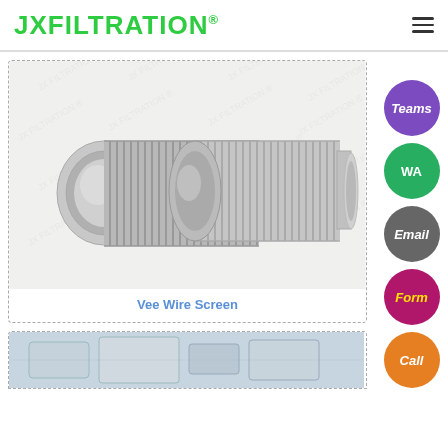JXFILTRATION®
[Figure (photo): Two stainless steel vee wire screen cylindrical filter elements with threaded ends, shown at angles against white background with JX Filtration watermark]
Vee Wire Screen
[Figure (photo): Partial view of industrial filtration equipment (second product card, partially visible at bottom)]